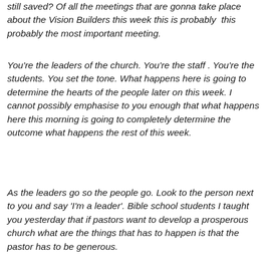still saved? Of all the meetings that are gonna take place about the Vision Builders this week this is probably this probably the most important meeting.
You're the leaders of the church. You're the staff. You're the students. You set the tone. What happens here is going to determine the hearts of the people later on this week. I cannot possibly emphasise to you enough that what happens here this morning is going to completely determine the outcome what happens the rest of this week.
As the leaders go so the people go. Look to the person next to you and say 'I'm a leader'. Bible school students I taught you yesterday that if pastors want to develop a prosperous church what are the things that has to happen is that the pastor has to be generous.